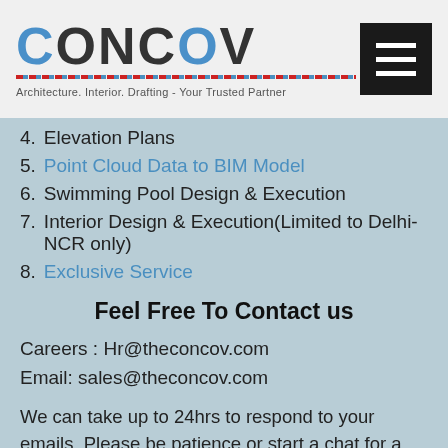[Figure (logo): CONCOV logo with blue and dark text, red/blue dashed underline, and tagline 'Architecture. Interior. Drafting - Your Trusted Partner']
4. Elevation Plans
5. Point Cloud Data to BIM Model
6. Swimming Pool Design & Execution
7. Interior Design & Execution(Limited to Delhi-NCR only)
8. Exclusive Service
Feel Free To Contact us
Careers : Hr@theconcov.com
Email: sales@theconcov.com
We can take up to 24hrs to respond to your emails, Please be patience or start a chat for a quick response.
Office-1